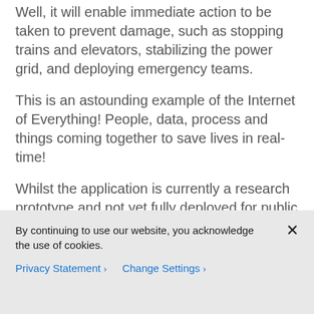Well, it will enable immediate action to be taken to prevent damage, such as stopping trains and elevators, stabilizing the power grid, and deploying emergency teams.
This is an astounding example of the Internet of Everything! People, data, process and things coming together to save lives in real-time!
Whilst the application is currently a research prototype and not yet fully deployed for public use, Caltech anticipate that the capability of real-time early warning may convince users to download and install the application when it is
By continuing to use our website, you acknowledge the use of cookies.
Privacy Statement > Change Settings >